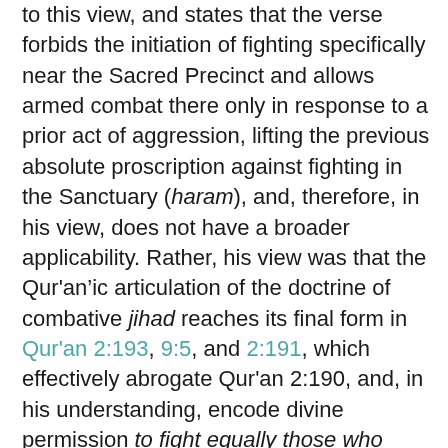to this view, and states that the verse forbids the initiation of fighting specifically near the Sacred Precinct and allows armed combat there only in response to a prior act of aggression, lifting the previous absolute proscription against fighting in the Sanctuary (haram), and, therefore, in his view, does not have a broader applicability. Rather, his view was that the Qur'anic articulation of the doctrine of combative jihad reaches its final form in Qur'an 2:193, 9:5, and 2:191, which effectively abrogate Qur'an 2:190, and, in his understanding, encode divine permission to fight equally those who fight and those who desist from fighting.
A general immunity for non-combatants however continues to be upheld by al-Mawardi.[x] Similar views are documented by the Maliki jurist Sahnun b. Sa'id al-Tanukhi [d. 240/855]) in his legal compendium Al-Mudawwanna and by the Shafi'i jurist Abu Bakr al-